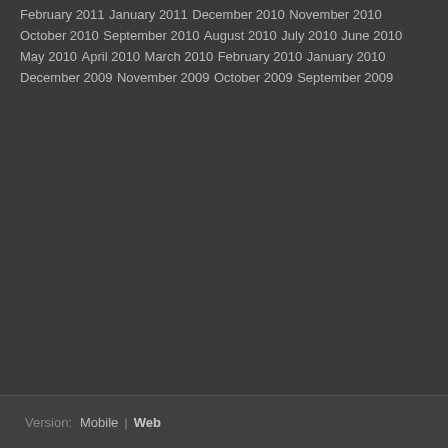February 2011
January 2011
December 2010
November 2010
October 2010
September 2010
August 2010
July 2010
June 2010
May 2010
April 2010
March 2010
February 2010
January 2010
December 2009
November 2009
October 2009
September 2009
Version: Mobile | Web